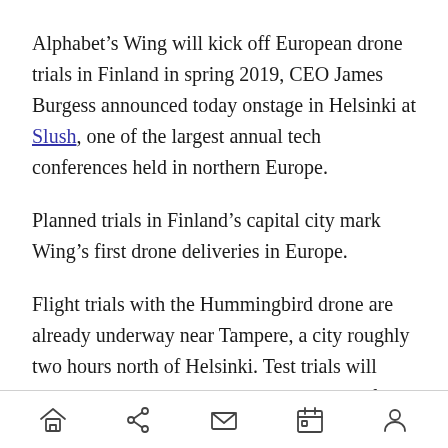Alphabet's Wing will kick off European drone trials in Finland in spring 2019, CEO James Burgess announced today onstage in Helsinki at Slush, one of the largest annual tech conferences held in northern Europe.
Planned trials in Finland's capital city mark Wing's first drone deliveries in Europe.
Flight trials with the Hummingbird drone are already underway near Tampere, a city roughly two hours north of Helsinki. Test trials will continue this winter to see how drones perform in cold conditions.
[home] [share] [mail] [calendar] [profile]